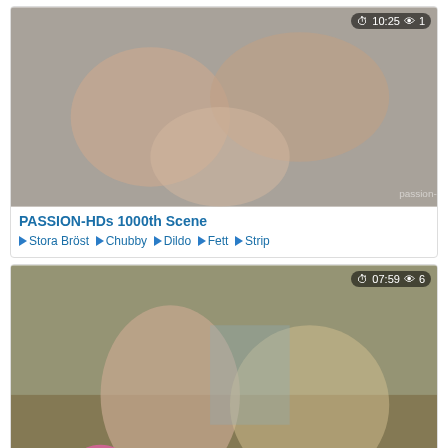[Figure (photo): Video thumbnail with duration 10:25 and view count 1]
PASSION-HDs 1000th Scene
Stora Bröst | Chubby | Dildo | Fett | Strip
[Figure (photo): Video thumbnail with duration 07:59 and view count 6]
Hot Happy Birthday lesbian
Amatör | Anal | Blond | Cum | Cumshot | Naturliga
[Figure (photo): Video thumbnail with duration 07:25 and view count 7]